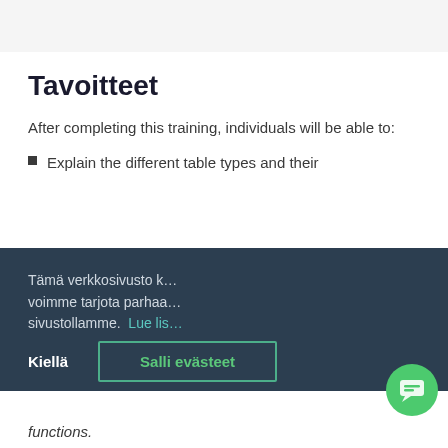Tavoitteet
After completing this training, individuals will be able to:
Explain the different table types and their
Tämä verkkosivusto k... voimme tarjota parhaa... sivustollamme. Lue lis...
[Figure (screenshot): Chat popup with avatar photo, close button, and message: Onko sinulla kysyttävää? Autan sinua mielelläni.]
Onko sinulla kysyttävää? Autan sinua mielelläni.
Kiellä
Salli evästeet
functions.